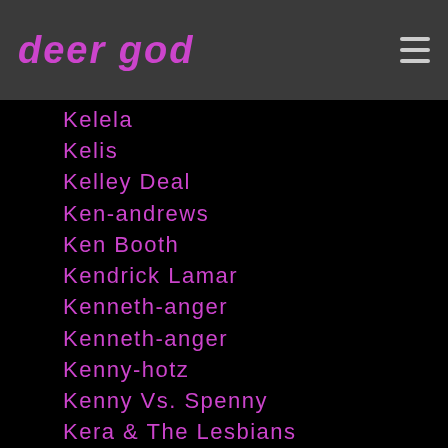deer god
Kelela
Kelis
Kelley Deal
Ken-andrews
Ken Booth
Kendrick Lamar
Kenneth-anger
Kenneth-anger
Kenny-hotz
Kenny Vs. Spenny
Kera & The Lesbians
Kerrang
Kevin Parker
Kevin Shields
Kid-mero
Kid Sister
Kiko Loureiro